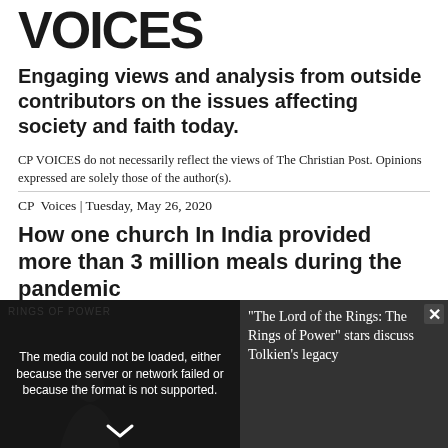VOICES
Engaging views and analysis from outside contributors on the issues affecting society and faith today.
CP VOICES do not necessarily reflect the views of The Christian Post. Opinions expressed are solely those of the author(s).
CP  Voices | Tuesday, May 26, 2020
How one church In India provided more than 3 million meals during the pandemic
By Michael Brown, CP Op-Ed Contributor | Tuesday, May 26,
[Figure (screenshot): Video player overlay split into two panels. Left panel shows a dark background with a person silhouette and an error message: 'The media could not be loaded, either because the server or network failed or because the format is not supported.' Right panel shows text: '"The Lord of the Rings: The Rings of Power" stars discuss Tolkien's legacy' with a close button (×) and chevron down arrow.]